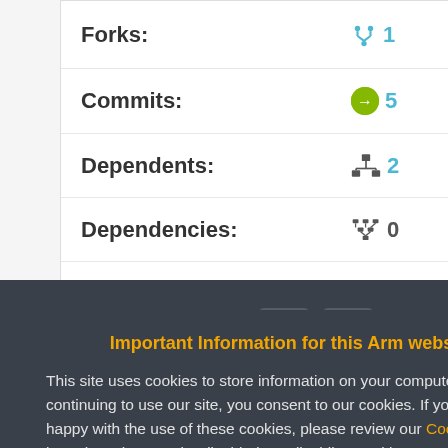| Stat | Value |
| --- | --- |
| Forks: | 1 |
| Commits: | 5 |
| Dependents: | 2 |
| Dependencies: | 0 |
| Followers: | 8 |
Important Information for this Arm website
This site uses cookies to store information on your computer. By continuing to use our site, you consent to our cookies. If you are not happy with the use of these cookies, please review our Cookie Policy to learn how they can be disabled. By disabling cookies, some features of the site will not work.
Accept and hide this message
Home | Website Terms | Privacy | Cookies | Trademarks